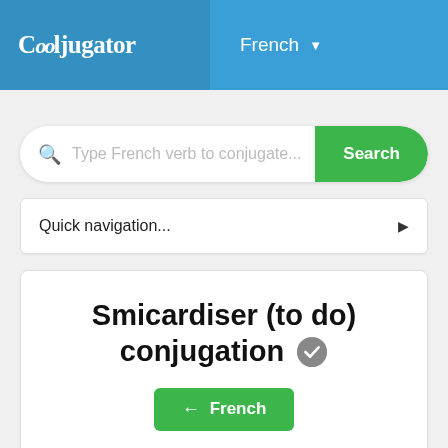Cooljugator — French
[Figure (screenshot): Search bar with placeholder 'Type French verb to conjugate...' and green Search button]
Quick navigation...
Smicardiser (to do) conjugation
← French